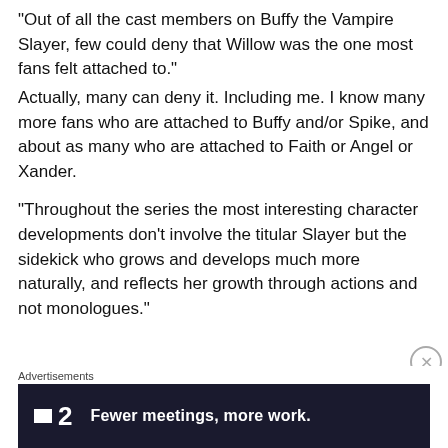“Out of all the cast members on Buffy the Vampire Slayer, few could deny that Willow was the one most fans felt attached to.”
Actually, many can deny it. Including me. I know many more fans who are attached to Buffy and/or Spike, and about as many who are attached to Faith or Angel or Xander.
“Throughout the series the most interesting character developments don’t involve the titular Slayer but the sidekick who grows and develops much more naturally, and reflects her growth through actions and not monologues.”
Advertisements
[Figure (screenshot): Advertisement banner with dark navy background showing a logo with a small white rectangle and '2' next to text reading 'Fewer meetings, more work.' in white bold font]